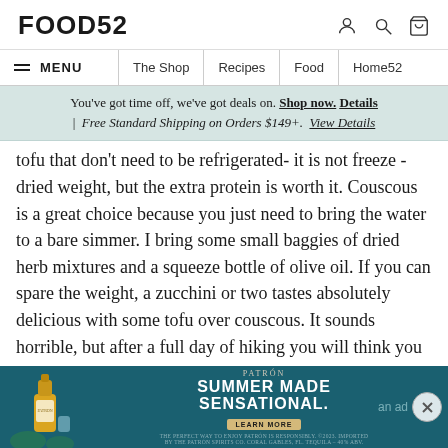FOOD52
MENU | The Shop | Recipes | Food | Home52
You've got time off, we've got deals on. Shop now. Details | Free Standard Shipping on Orders $149+. View Details
tofu that don't need to be refrigerated- it is not freeze -dried weight, but the extra protein is worth it. Couscous is a great choice because you just need to bring the water to a bare simmer. I bring some small baggies of dried herb mixtures and a squeeze bottle of olive oil. If you can spare the weight, a zucchini or two tastes absolutely delicious with some tofu over couscous. It sounds horrible, but after a full day of hiking you will think you are eating at Chez Panisse!
If I were you I would not try to cook beans unless you plan to hang around the campsite for most of
[Figure (infographic): Advertisement for Patron tequila: 'Summer Made Sensational' with learn more button and legal disclaimer. Text reads: 'an ad']